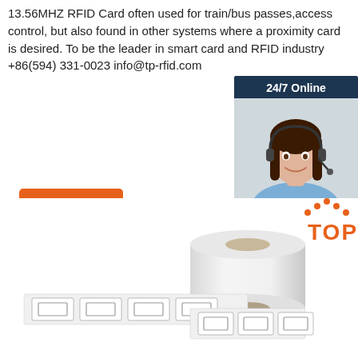13.56MHZ RFID Card often used for train/bus passes,access control, but also found in other systems where a proximity card is desired. To be the leader in smart card and RFID industry +86(594) 331-0023 info@tp-rfid.com
[Figure (other): Orange 'Get Price' button]
[Figure (other): 24/7 Online chat widget with customer service representative photo, 'Click here for free chat!' text, and orange QUOTATION button]
[Figure (photo): Roll of RFID label stickers/tags on a dispenser roll, white labels with square antenna outlines, with TOP logo in orange at bottom right]